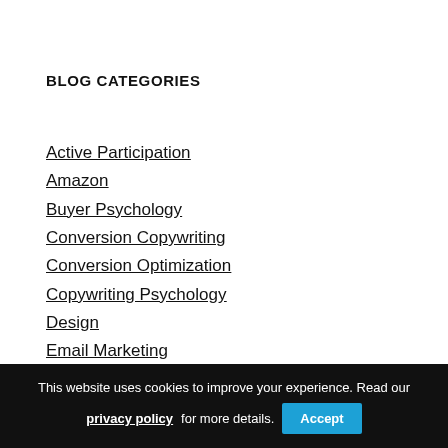BLOG CATEGORIES
Active Participation
Amazon
Buyer Psychology
Conversion Copywriting
Conversion Optimization
Copywriting Psychology
Design
Email Marketing
Lab
This website uses cookies to improve your experience. Read our privacy policy for more details. Accept